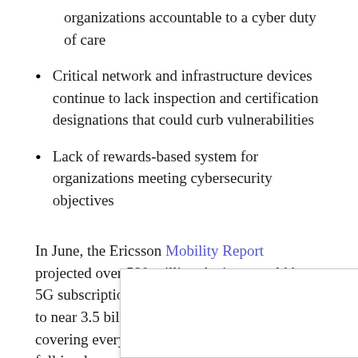organizations accountable to a cyber duty of care
Critical network and infrastructure devices continue to lack inspection and certification designations that could curb vulnerabilities
Lack of rewards-based system for organizations meeting cybersecurity objectives
In June, the Ericsson Mobility Report projected over 580 million devices would have 5G subscriptions. By 2026, that number grows to near 3.5 billion 5G mobile subscriptions covering every region of the globe. Though full implementation won't be fully realized for some time, CSPs and public and private stakeholders are all responsible for the sustainable development of 5G networks